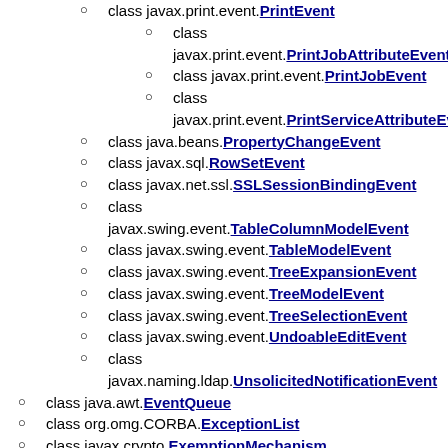class javax.print.event.PrintEvent
class javax.print.event.PrintJobAttributeEvent
class javax.print.event.PrintJobEvent
class javax.print.event.PrintServiceAttributeEv...
class java.beans.PropertyChangeEvent
class javax.sql.RowSetEvent
class javax.net.ssl.SSLSessionBindingEvent
class javax.swing.event.TableColumnModelEvent
class javax.swing.event.TableModelEvent
class javax.swing.event.TreeExpansionEvent
class javax.swing.event.TreeModelEvent
class javax.swing.event.TreeSelectionEvent
class javax.swing.event.UndoableEditEvent
class javax.naming.ldap.UnsolicitedNotificationEvent
class java.awt.EventQueue
class org.omg.CORBA.ExceptionList
class javax.crypto.ExemptionMechanism
class javax.crypto.ExemptionMechanismSpi
class java.beans.FeatureDescriptor
class java.beans.BeanDescriptor
class java.beans.EventSetDescriptor